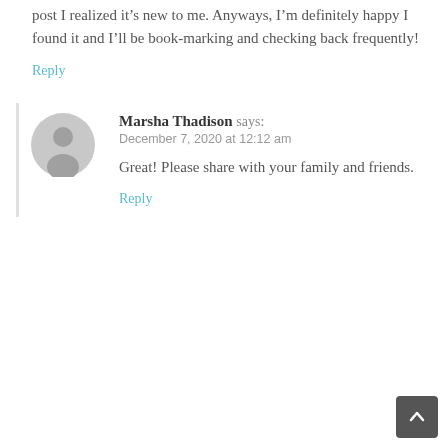post I realized it's new to me. Anyways, I'm definitely happy I found it and I'll be book-marking and checking back frequently!
Reply
Marsha Thadison says:
December 7, 2020 at 12:12 am
Great! Please share with your family and friends.
Reply